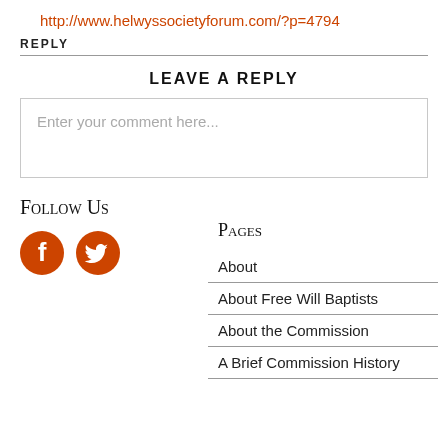http://www.helwyssocietyforum.com/?p=4794
REPLY
LEAVE A REPLY
Enter your comment here...
Follow Us
[Figure (illustration): Orange Facebook and Twitter social media icons]
Pages
About
About Free Will Baptists
About the Commission
A Brief Commission History